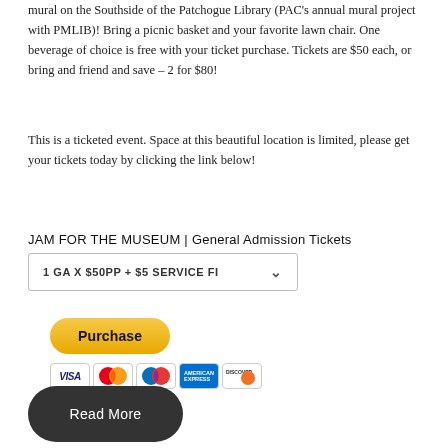mural on the Southside of the Patchogue Library (PAC's annual mural project with PMLIB)! Bring a picnic basket and your favorite lawn chair. One beverage of choice is free with your ticket purchase. Tickets are $50 each, or bring and friend and save – 2 for $80!
This is a ticketed event. Space at this beautiful location is limited, please get your tickets today by clicking the link below!
JAM FOR THE MUSEUM | General Admission Tickets
1 GA X $50PP + $5 SERVICE FI
[Figure (other): PayPal Purchase button (gold/yellow rounded rectangle) with credit card icons below: Visa, Mastercard, PayPal, American Express, Discover]
Read More